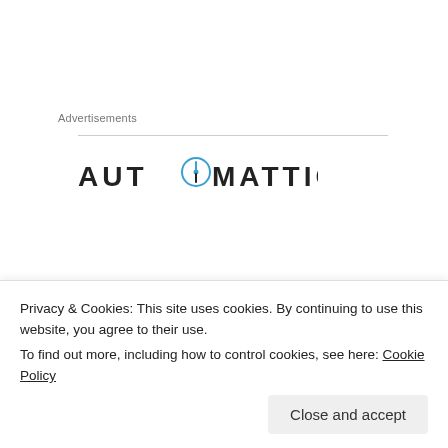Advertisements
[Figure (logo): Automattic logo with compass icon inside the letter O]
Shiloh Lodge
[Figure (photo): Partial photo of what appears to be trees/foliage, cropped at bottom of page]
Privacy & Cookies: This site uses cookies. By continuing to use this website, you agree to their use.
To find out more, including how to control cookies, see here: Cookie Policy
Close and accept